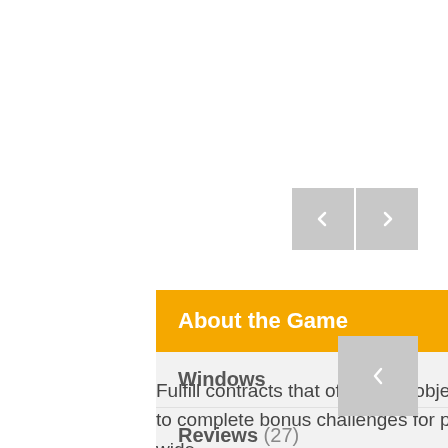[Figure (other): Two square navigation buttons with arrow icons on a light gray background, positioned top-right]
About the Game
Windows
Reviews (27)
Fulfill contracts that offer clear objectives with a fixed monetary reward and options to complete bonus challenges for payouts. With hundreds of ways to take down a wide
[Figure (other): Single square navigation button with arrow icon on a light gray background, positioned bottom-right]